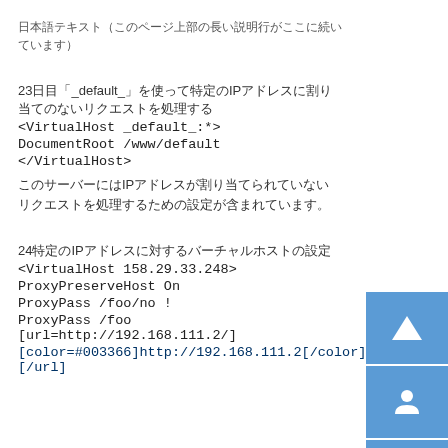日本語テキスト（上部の長い行）
23日目「_default_」を使って特定のIPアドレスに割り当てのないリクエストを処理する
<VirtualHost _default_:*>
DocumentRoot /www/default
</VirtualHost>
このサーバーにはIPアドレスが割り当てられていないリクエストを処理するための設定が含まれています。
24特定のIPアドレスに対するバーチャルホストの設定
<VirtualHost 158.29.33.248>
ProxyPreserveHost On
ProxyPass /foo/no !
ProxyPass /foo [url=http://192.168.111.2/]
[color=#003366]http://192.168.111.2[/color][/url]